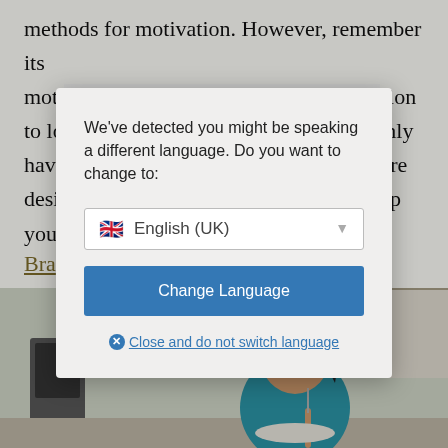methods for motivation. However, remember its motivation that enables to make the decision to lo... only have... are desi... help you... yet.
Bra...
[Figure (screenshot): Language change modal dialog overlay on a webpage. The modal reads: 'We've detected you might be speaking a different language. Do you want to change to:' with a dropdown showing 'English (UK)' with a UK flag, a blue 'Change Language' button, and a 'Close and do not switch language' link with an X icon. The background shows partial text of an article and a photo of a woman eating.]
[Figure (photo): A woman with dark hair wearing a teal/blue tank top eating with a fork, appearing to be in a kitchen setting.]